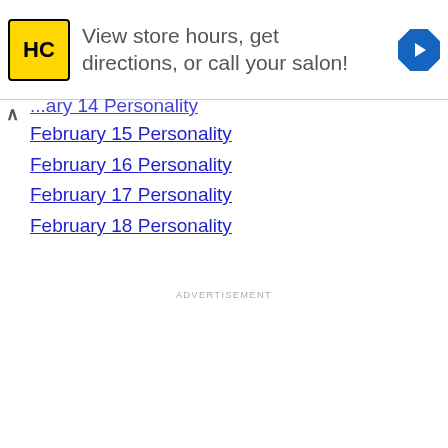[Figure (infographic): Advertisement banner with HC logo (yellow square with black HC text), text 'View store hours, get directions, or call your salon!' and a blue diamond arrow navigation icon on the right.]
...ary 14 Personality
February 15 Personality
February 16 Personality
February 17 Personality
February 18 Personality
ADVERTISEMENT